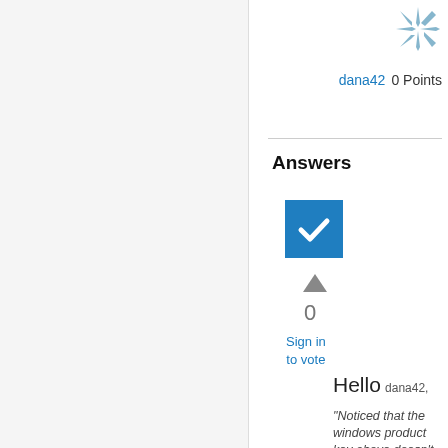[Figure (logo): Blue asterisk/star burst icon representing a user badge]
dana42   0 Points
Answers
[Figure (illustration): Blue checkbox with white checkmark (accepted answer indicator)]
[Figure (illustration): Grey upward triangle vote button]
0
Sign in
to vote
Hello dana42,
"Noticed that the windows product key above doesn't match the one I have:"
Yes, that is normal. Computers, that are built by large manufactures, that come with Vista Pre-Installed, come with two (2) Product Keys: